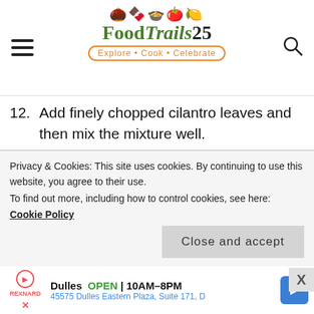FoodTrails25 — Explore • Cook • Celebrate
12. Add finely chopped cilantro leaves and then mix the mixture well.
13. It will be like a cookie dough. If the mixture feels a little lose then add 1-2 tbsp more oats flour.
14. Now shape the cutlets /kebabs. Take
Privacy & Cookies: This site uses cookies. By continuing to use this website, you agree to their use.
To find out more, including how to control cookies, see here: Cookie Policy
Close and accept
Dulles OPEN | 10AM–8PM
45575 Dulles Eastern Plaza, Suite 171, D